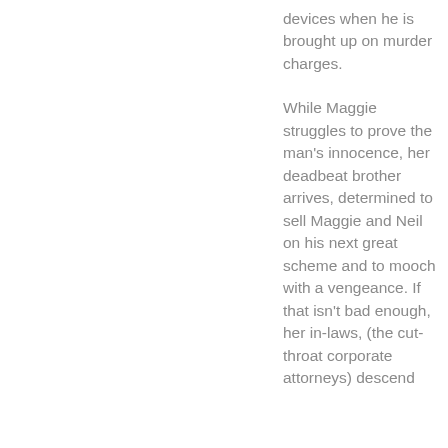devices when he is brought up on murder charges.

While Maggie struggles to prove the man's innocence, her deadbeat brother arrives, determined to sell Maggie and Neil on his next great scheme and to mooch with a vengeance. If that isn't bad enough, her in-laws, (the cut-throat corporate attorneys) descend